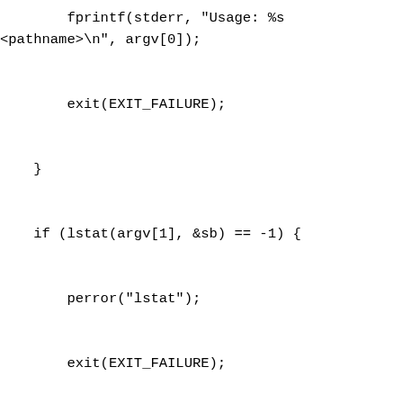fprintf(stderr, "Usage: %s
<pathname>\n", argv[0]);


        exit(EXIT_FAILURE);


    }


    if (lstat(argv[1], &sb) == -1) {


        perror("lstat");


        exit(EXIT_FAILURE);


    }


    /* Add one to the link size, so that we